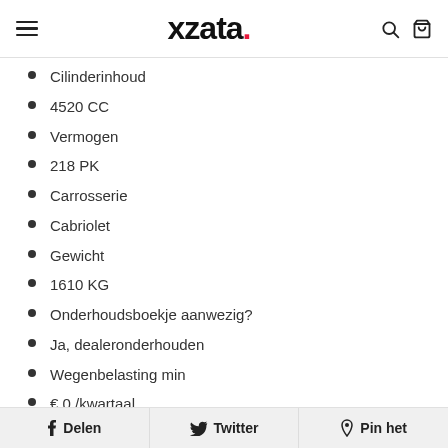xzata.
Cilinderinhoud
4520 CC
Vermogen
218 PK
Carrosserie
Cabriolet
Gewicht
1610 KG
Onderhoudsboekje aanwezig?
Ja, dealeronderhouden
Wegenbelasting min
€ 0 /kwartaal
Delen  Twitter  Pin het